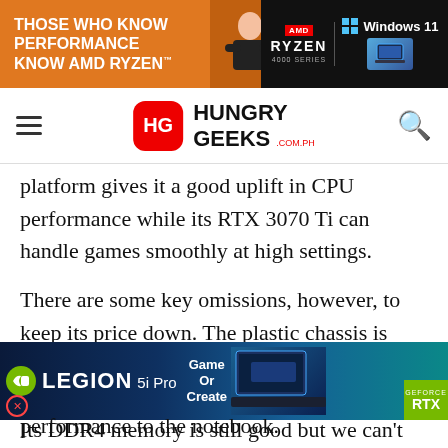[Figure (other): AMD Ryzen 4000 Series / Windows 11 advertisement banner with orange background and person with camera]
[Figure (logo): Hungry Geeks logo with HG badge in red rounded rectangle and navigation hamburger menu and search icon]
platform gives it a good uplift in CPU performance while its RTX 3070 Ti can handle games smoothly at high settings.
There are some key omissions, however, to keep its price down. The plastic chassis is unimpressive and the lack of an RGB keyboard might turn off rainbow enthusiasts. Its DDR4 memory is still good but we can't help but
[Figure (other): Lenovo Legion 5i Pro advertisement banner with Game Or Create tagline and RTX badge]
performance to the notebook.